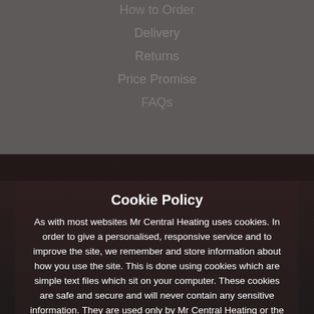How to Order
Delivery
Returns
Price Promise
FAQs
Cookie Policy
As with most websites Mr Central Heating uses cookies. In order to give a personalised, responsive service and to improve the site, we remember and store information about how you use the site. This is done using cookies which are simple text files which sit on your computer. These cookies are safe and secure and will never contain any sensitive information. They are used only by Mr Central Heating or the trusted partners we work with, where they are used for marketing, statistics and personalised ads. We've recently updated our Privacy Policy to give you more detailed information about your rights and how we use your data.
Click here to learn about cookies
Allow Cookies
Customise